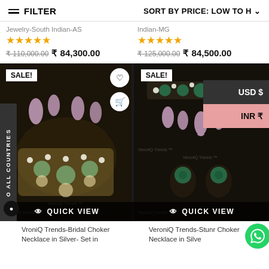FILTER   SORT BY PRICE: LOW TO H
Jewelry-South Indian-AS
Indian-MG
★★★★★
★★★★★
₹ 110,000.00  ₹ 84,300.00
₹ 125,000.00  ₹ 84,500.00
[Figure (photo): Jewelry product photo left - bridal choker necklace with SALE badge and QUICK VIEW overlay]
[Figure (photo): Jewelry product photo right - stunr choker necklace with SALE badge, currency dropdown (USD $, INR ₹), and QUICK VIEW overlay]
VroniQ Trends-Bridal Choker Necklace in Silver- Set in
VeroniQ Trends-Stunr Choker Necklace in Silve